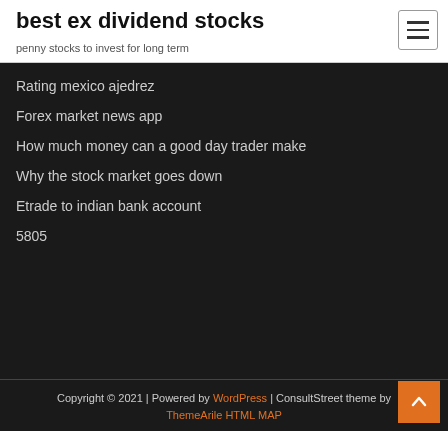best ex dividend stocks
penny stocks to invest for long term
Rating mexico ajedrez
Forex market news app
How much money can a good day trader make
Why the stock market goes down
Etrade to indian bank account
5805
Copyright © 2021 | Powered by WordPress | ConsultStreet theme by ThemeArile HTML MAP